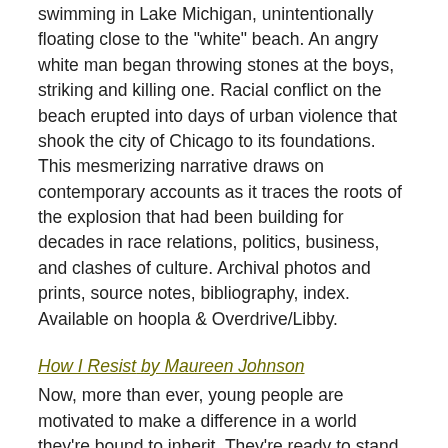swimming in Lake Michigan, unintentionally floating close to the "white" beach. An angry white man began throwing stones at the boys, striking and killing one. Racial conflict on the beach erupted into days of urban violence that shook the city of Chicago to its foundations. This mesmerizing narrative draws on contemporary accounts as it traces the roots of the explosion that had been building for decades in race relations, politics, business, and clashes of culture. Archival photos and prints, source notes, bibliography, index. Available on hoopla & Overdrive/Libby.
How I Resist by Maureen Johnson
Now, more than ever, young people are motivated to make a difference in a world they're bound to inherit. They're ready to stand up and be heard - but with much to shout about, where they do they begin? What can I do? How can I help? How I Resist is the response, and a way to start the conversation. To show readers that they are not helpless, and that anyone can be the change. A collection of essays, songs, illustrations, and interviews about activism and